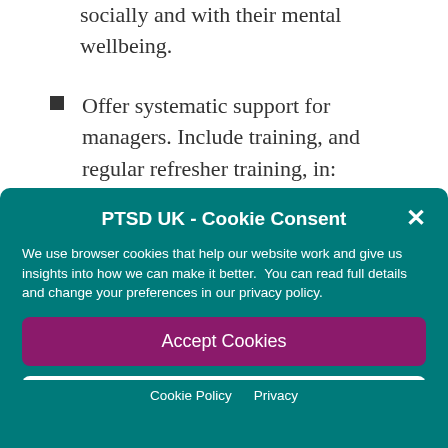socially and with their mental wellbeing.
Offer systematic support for managers. Include training, and regular refresher training, in:
PTSD UK - Cookie Consent
We use browser cookies that help our website work and give us insights into how we can make it better. You can read full details and change your preferences in our privacy policy.
Accept Cookies
Edit Preferences
Cookie Policy  Privacy